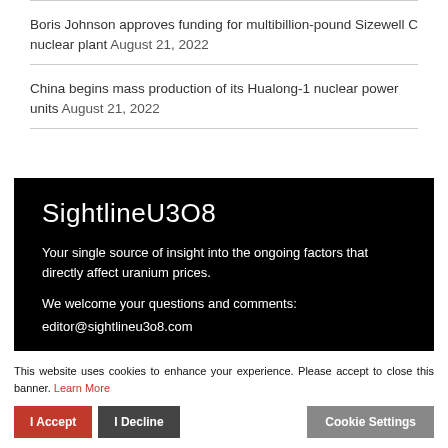Boris Johnson approves funding for multibillion-pound Sizewell C nuclear plant August 21, 2022
China begins mass production of its Hualong-1 nuclear power units August 21, 2022
[Figure (other): Dark banner for SightlineU3O8 with brand title, tagline, and contact email]
This website uses cookies to enhance your experience. Please accept to close this banner. Learn More
I Accept | I Decline | Cookie Settings